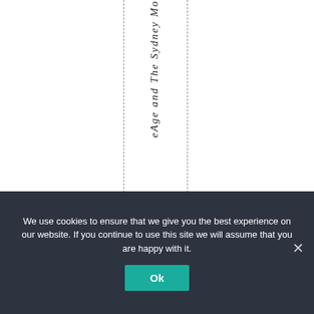eAge and The Sydney Mo
We use cookies to ensure that we give you the best experience on our website. If you continue to use this site we will assume that you are happy with it.